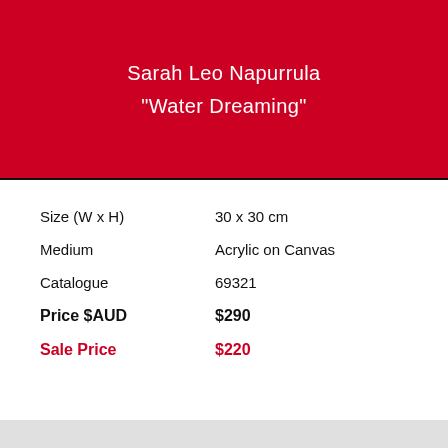Sarah Leo Napurrula
"Water Dreaming"
| Size (W x H) | 30 x 30 cm |
| Medium | Acrylic on Canvas |
| Catalogue | 69321 |
| Price $AUD | $290 |
| Sale Price | $220 |